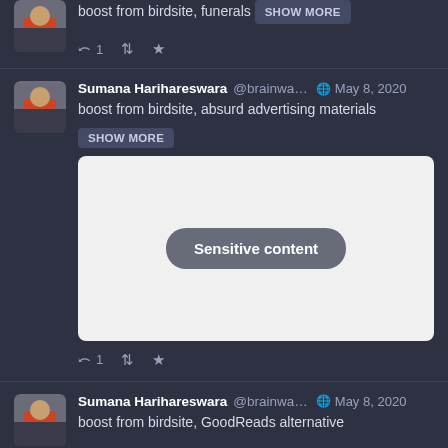[Figure (screenshot): Partial top social media post showing avatar, boost from birdsite, funerals text with SHOW MORE button and action bar with reply 1, retweet, and favorite icons]
[Figure (screenshot): Social media post by Sumana Harihareswara @brainwa... May 8, 2020, text: boost from birdsite, absurd advertising materials, with SHOW MORE button, sensitive content image placeholder, and action bar with reply 1, retweet, favorite icons]
[Figure (screenshot): Partial bottom social media post by Sumana Harihareswara @brainwa... May 8, 2020, text: boost from birdsite, GoodReads alternative]